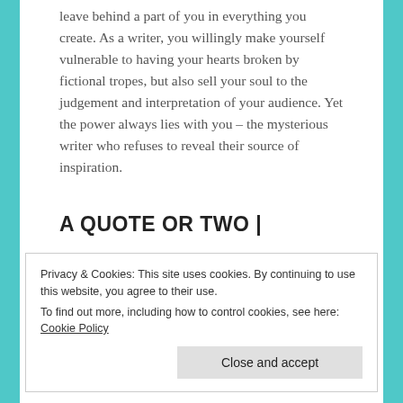leave behind a part of you in everything you create. As a writer, you willingly make yourself vulnerable to having your hearts broken by fictional tropes, but also sell your soul to the judgement and interpretation of your audience. Yet the power always lies with you – the mysterious writer who refuses to reveal their source of inspiration.
A QUOTE OR TWO |
a reader lives a thousand lives before they die
Privacy & Cookies: This site uses cookies. By continuing to use this website, you agree to their use.
To find out more, including how to control cookies, see here: Cookie Policy
Close and accept